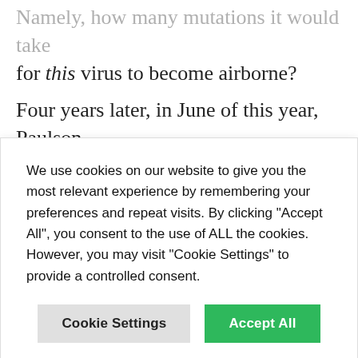Namely, how many mutations it would take for this virus to become airborne?
Four years later, in June of this year, Paulson
We use cookies on our website to give you the most relevant experience by remembering your preferences and repeat visits. By clicking “Accept All”, you consent to the use of ALL the cookies. However, you may visit "Cookie Settings" to provide a controlled consent.
Paulson recently told New Scientist. “We can’t move forward.” For now, any further work must be carried out in laboratories that do not rely on U.S. government funding.